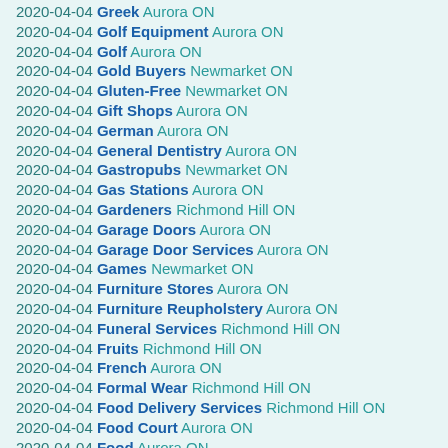2020-04-04 Greek Aurora ON
2020-04-04 Golf Equipment Aurora ON
2020-04-04 Golf Aurora ON
2020-04-04 Gold Buyers Newmarket ON
2020-04-04 Gluten-Free Newmarket ON
2020-04-04 Gift Shops Aurora ON
2020-04-04 German Aurora ON
2020-04-04 General Dentistry Aurora ON
2020-04-04 Gastropubs Newmarket ON
2020-04-04 Gas Stations Aurora ON
2020-04-04 Gardeners Richmond Hill ON
2020-04-04 Garage Doors Aurora ON
2020-04-04 Garage Door Services Aurora ON
2020-04-04 Games Newmarket ON
2020-04-04 Furniture Stores Aurora ON
2020-04-04 Furniture Reupholstery Aurora ON
2020-04-04 Funeral Services Richmond Hill ON
2020-04-04 Fruits Richmond Hill ON
2020-04-04 French Aurora ON
2020-04-04 Formal Wear Richmond Hill ON
2020-04-04 Food Delivery Services Richmond Hill ON
2020-04-04 Food Court Aurora ON
2020-04-04 Food Aurora ON